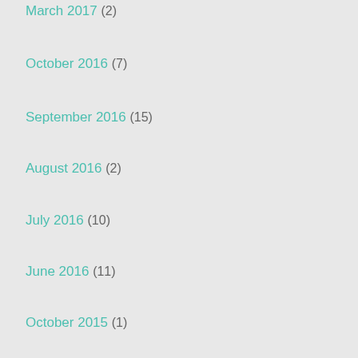March 2017 (2)
October 2016 (7)
September 2016 (15)
August 2016 (2)
July 2016 (10)
June 2016 (11)
October 2015 (1)
August 2015 (2)
July 2015 (6)